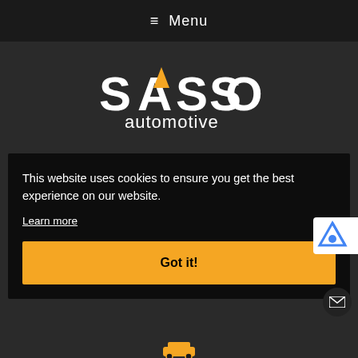≡ Menu
[Figure (logo): SASSO automotive logo — large white stylized letters 'SASSO' with an orange triangle as the letter A, and 'automotive' in white below]
This website uses cookies to ensure you get the best experience on our website.
Learn more
Got it!